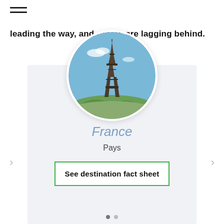leading the way, and others are lagging behind.
[Figure (photo): Circular photo of the Eiffel Tower in Paris with blue sky and greenery below]
France
Pays
See destination fact sheet
• •